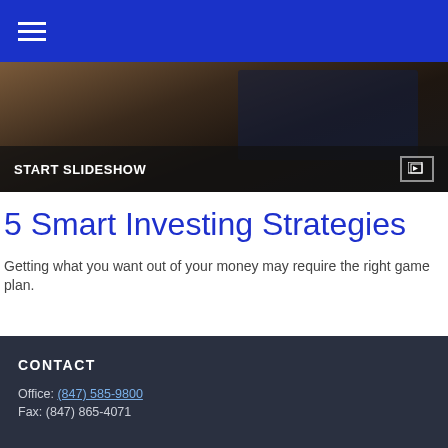Navigation bar with hamburger menu
[Figure (photo): Dark background hero image showing a tablet/monitor device on a wooden surface with a blue screen, overlaid with a dark bar containing 'START SLIDESHOW' text and a slideshow icon]
5 Smart Investing Strategies
Getting what you want out of your money may require the right game plan.
CONTACT
Office: (847) 585-9800
Fax: (847) 865-4071